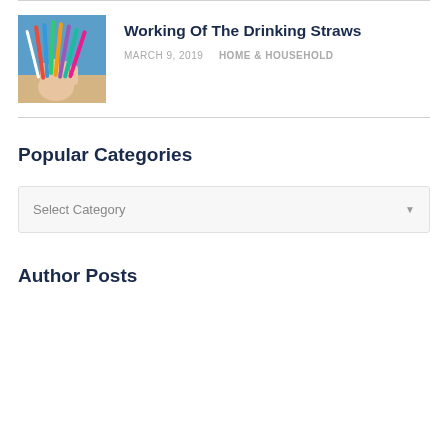[Figure (photo): A hand holding a bunch of colorful drinking straws on a beach background]
Working Of The Drinking Straws
MARCH 9, 2019  HOME & HOUSEHOLD
Popular Categories
Select Category
Author Posts